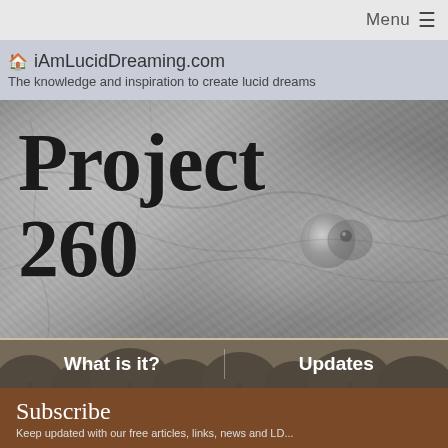Menu ☰
🏠 iAmLucidDreaming.com
The knowledge and inspiration to create lucid dreams
Project 260
[Figure (photo): Black and white textured background image resembling bark, rock, or skin with a circular eye-like feature on the right side, overlaid with large serif text 'Project 260']
What is it?
Updates
[Figure (photo): Black and white jungle silhouette strip showing tree canopies against a light sky]
Subscribe